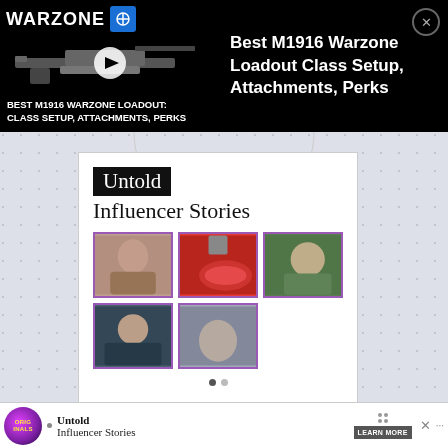[Figure (screenshot): Top advertisement banner for 'Best M1916 Warzone Loadout Class Setup, Attachments, Perks' video. Black background with Warzone logo, gun image with play button, and text.]
Best M1916 Warzone Loadout Class Setup, Attachments, Perks
[Figure (infographic): Content card showing 'Untold Influencer Stories' with 5 thumbnail images of influencers arranged in a grid layout.]
Untold
Influencer Stories
[Figure (screenshot): Bottom advertisement banner showing Untold Influencer Stories with Originals logo, Learn More button.]